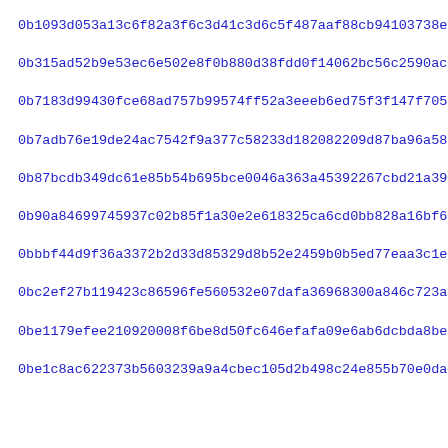0b1093d053a13c6f82a3f6c3d41c3d6c5f487aaf88cb94103738efc9e90fb
0b315ad52b9e53ec6e502e8f0b880d38fdd0f14062bc56c2590acb9c1c924
0b7183d99430fce68ad757b99574ff52a3eeeb6ed75f3f147f70578501c32
0b7adb76e19de24ac7542f9a377c58233d182082209d87ba96a58cf32fe59
0b87bcdb349dc61e85b54b695bce0046a363a45392267cbd21a39a15aa28b
0b90a84699745937c02b85f1a30e2e618325ca6cd0bb828a16bf6db01f0aa
0bbbf44d9f36a3372b2d33d85329d8b52e2459b0b5ed77eaa3c1e6b24d5d5
0bc2ef27b119423c86596fe560532e07dafa36968300a846c723adc424443
0be1179efee210920008f6be8d50fc646efafa09e6ab6dcbda8be50b8fec6
0be1c8ac622373b5603239a9a4cbec105d2b498c24e855b70e0da17c58c4c